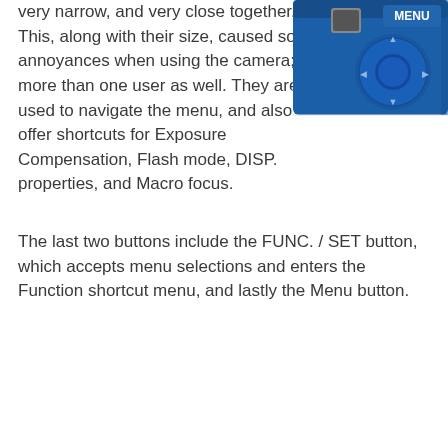very narrow, and very close together. This, along with their size, caused some annoyances when using the camera; by more than one user as well. They are used to navigate the menu, and also offer shortcuts for Exposure Compensation, Flash mode, DISP. properties, and Macro focus.
[Figure (photo): Close-up photo of a blue camera back panel showing a circular control pad and a MENU button label visible]
The last two buttons include the FUNC. / SET button, which accepts menu selections and enters the Function shortcut menu, and lastly the Menu button.